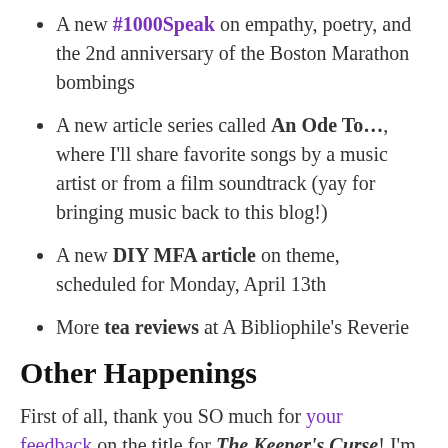A new #1000Speak on empathy, poetry, and the 2nd anniversary of the Boston Marathon bombings
A new article series called An Ode To…, where I'll share favorite songs by a music artist or from a film soundtrack (yay for bringing music back to this blog!)
A new DIY MFA article on theme, scheduled for Monday, April 13th
More tea reviews at A Bibliophile's Reverie
Other Happenings
First of all, thank you SO much for your feedback on the title for The Keeper's Curse! I'm trying hard not to get too attached to the title, since I know it could still change later on. But I'm thrilled that it works from a